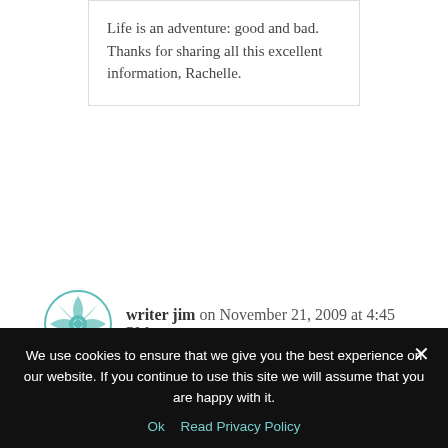Life is an adventure: good and bad.

Thanks for sharing all this excellent information, Rachelle.
writer jim on November 21, 2009 at 4:45 PM
>Rachelle:

Thank you for asking me to read your blog posts. I have. I
We use cookies to ensure that we give you the best experience on our website. If you continue to use this site we will assume that you are happy with it.
Ok   Read Privacy Policy